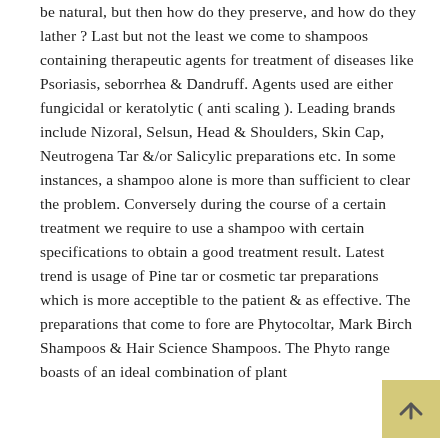be natural, but then how do they preserve, and how do they lather ? Last but not the least we come to shampoos containing therapeutic agents for treatment of diseases like Psoriasis, seborrhea & Dandruff. Agents used are either fungicidal or keratolytic ( anti scaling ). Leading brands include Nizoral, Selsun, Head & Shoulders, Skin Cap, Neutrogena Tar &/or Salicylic preparations etc. In some instances, a shampoo alone is more than sufficient to clear the problem. Conversely during the course of a certain treatment we require to use a shampoo with certain specifications to obtain a good treatment result. Latest trend is usage of Pine tar or cosmetic tar preparations which is more acceptible to the patient & as effective. The preparations that come to fore are Phytocoltar, Mark Birch Shampoos & Hair Science Shampoos. The Phyto range boasts of an ideal combination of plant